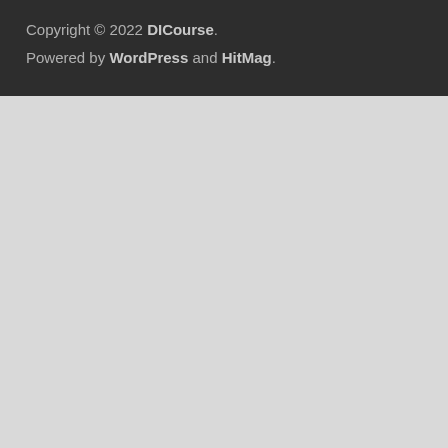Copyright © 2022 DICourse.
Powered by WordPress and HitMag.